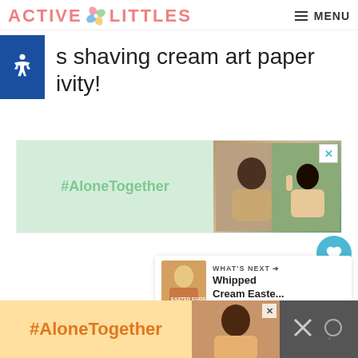ACTIVE LITTLES — MENU
s shaving cream art paper ivity!
[Figure (screenshot): #AloneTogether advertisement banner with photo of man and child on video call]
2
[Figure (screenshot): WHAT'S NEXT arrow label with thumbnail for Whipped Cream Easte...]
[Figure (screenshot): #AloneTogether bottom banner advertisement with woman photo and X close button]